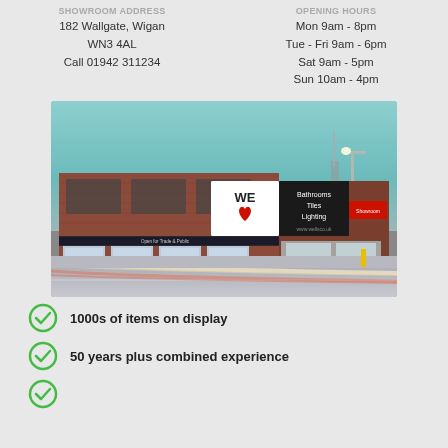Showroom Address | Opening Hours
182 Wallgate, Wigan
WN3 4AL
Call 01942 311234
Mon 9am - 8pm
Tue - Fri 9am - 6pm
Sat 9am - 5pm
Sun 10am - 4pm
[Figure (photo): Exterior photo of a brick showroom building at 182 Wallgate, Wigan. The building has large display windows at street level, arched entrances, and a prominent sign reading 'WE [heart] Bathrooms Tiles Lighting'. Street light visible in background, motion-blurred traffic light trails in foreground.]
1000s of items on display
50 years plus combined experience